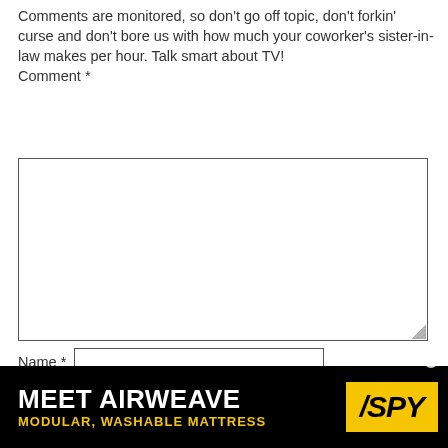Comments are monitored, so don't go off topic, don't forkin' curse and don't bore us with how much your coworker's sister-in-law makes per hour. Talk smart about TV!
Comment *
[Figure (screenshot): Empty comment textarea input box with resize handle]
Name *
[Figure (screenshot): Name text input field]
Email *
[Figure (screenshot): Email text input field]
Website
[Figure (screenshot): Website text input field]
Notify me of follow-up comments by email.
Post Comment
[Figure (screenshot): Advertisement banner: MEET AIRWEAVE MODULAR, WASHABLE MATTRESS with SPY logo]